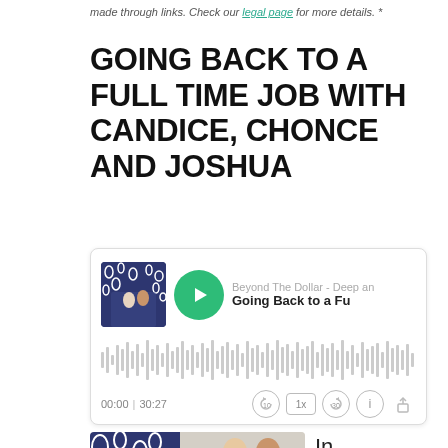made through links. Check our legal page for more details. *
GOING BACK TO A FULL TIME JOB WITH CANDICE, CHONCE AND JOSHUA
[Figure (screenshot): Podcast player widget showing 'Beyond The Dollar - Deep an...' podcast, episode 'Going Back to a Fu...' with album art, green play button, audio waveform visualization, time display 00:00 | 30:27, and playback controls]
[Figure (photo): Two people wearing face masks standing outdoors, partial view with decorative blue pattern overlay on left side]
In
this